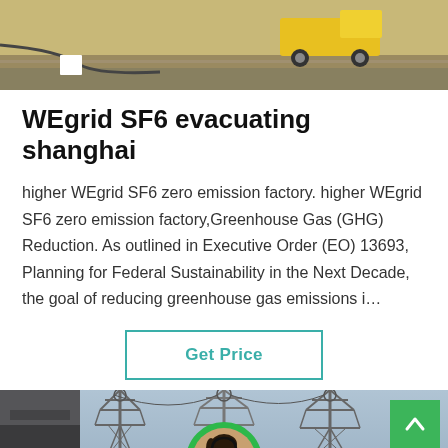[Figure (photo): Top strip showing construction/industrial scene with yellow truck on ground]
WEgrid SF6 evacuating shanghai
higher WEgrid SF6 zero emission factory. higher WEgrid SF6 zero emission factory,Greenhouse Gas (GHG) Reduction. As outlined in Executive Order (EO) 13693, Planning for Federal Sustainability in the Next Decade, the goal of reducing greenhouse gas emissions i…
[Figure (other): Get Price button with teal border]
[Figure (photo): Bottom section showing power transmission towers/pylons against sky, with green up-arrow button and dark bottom bar showing Leave Message and Chat Online with customer service avatar]